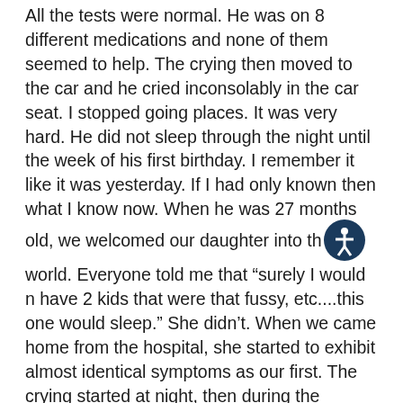All the tests were normal. He was on 8 different medications and none of them seemed to help. The crying then moved to the car and he cried inconsolably in the car seat. I stopped going places. It was very hard. He did not sleep through the night until the week of his first birthday. I remember it like it was yesterday. If I had only known then what I know now. When he was 27 months old, we welcomed our daughter into the world. Everyone told me that “surely I would not have 2 kids that were that fussy, etc....this one would sleep.” She didn’t. When we came home from the hospital, she started to exhibit almost identical symptoms as our first. The crying started at night, then during the daytime, then in the car seat wherever I went. The big difference this time was that I had a 27 month old running around to watch